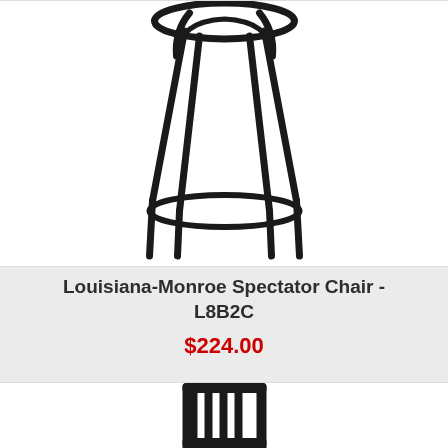[Figure (photo): Partial bottom view of a black metal barstool/spectator chair with four legs and a foot ring, shown cropped at top]
Louisiana-Monroe Spectator Chair - L8B2C
$224.00
[Figure (photo): Black metal swivel barstool with jailhouse-style back and blue seat cushion featuring the University of Virginia V logo with crossed swords]